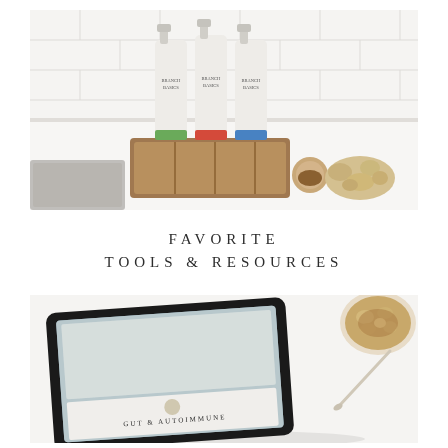[Figure (photo): Three Branch Basics spray bottles in a wooden crate on a white kitchen counter next to a sink, alongside a wooden brush and a natural sea sponge. White subway tile backsplash visible.]
FAVORITE TOOLS & RESOURCES
[Figure (photo): An iPad displaying a guide about gut and autoimmune issues, lying on a white surface. A bowl of iced coffee with mushroom slices is visible in the top right corner. A small spoon rests nearby.]